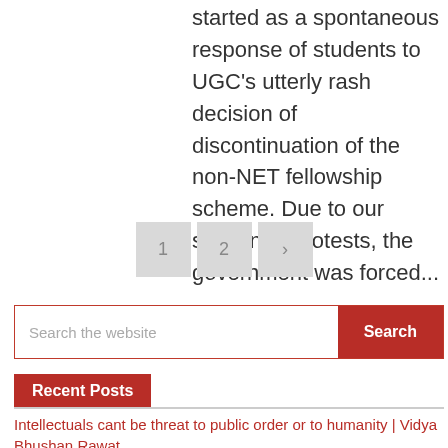Since the #OccupyUGC movement started as a spontaneous response of students to UGC's utterly rash decision of discontinuation of the non-NET fellowship scheme. Due to our sustained protests, the government was forced...
Pagination: 1  2  ›
Search the website [Search]
Recent Posts
Intellectuals cant be threat to public order or to humanity | Vidya Bhushan Rawat